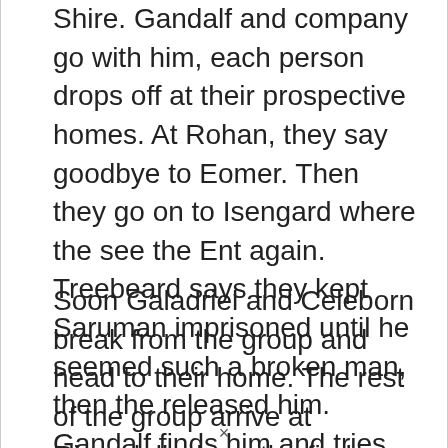After a while, Frodo yearns to return home to the Shire. Gandalf and company go with him, each person drops off at their prospective homes. At Rohan, they say goodbye to Eomer. Then they go on to Isengard where the see the Ent again. Treebeard says they kept Saruman imprisoned until he seemed such a broken man, then the released him. Gandalf finds him and tries to offer pity. But he refuses.
Soon Galadriel and Celeborn break from the group and head to their home. The rest of the group arrive at Rivendell where the find Bilbo. He has finished three more books and asks Frodo to take them and edit little. The...
×